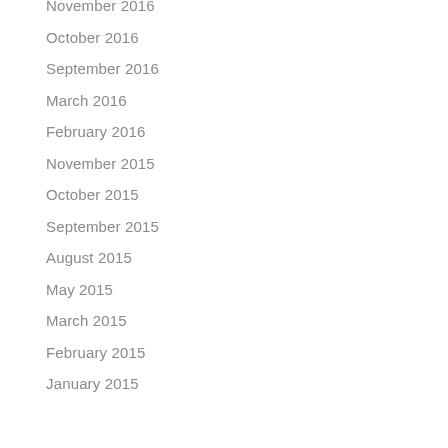November 2016
October 2016
September 2016
March 2016
February 2016
November 2015
October 2015
September 2015
August 2015
May 2015
March 2015
February 2015
January 2015